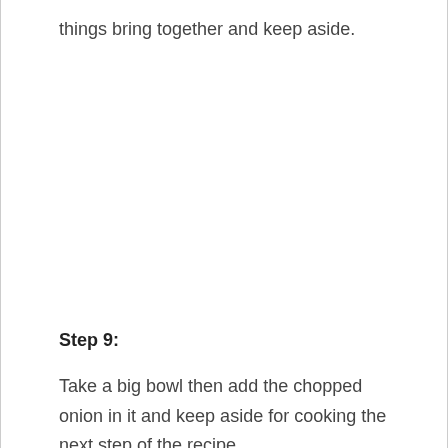things bring together and keep aside.
Step 9:
Take a big bowl then add the chopped onion in it and keep aside for cooking the next step of the recipe.